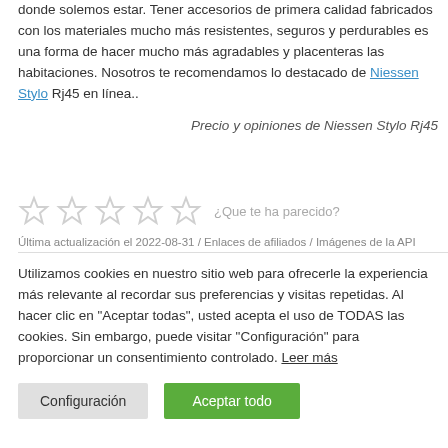donde solemos estar. Tener accesorios de primera calidad fabricados con los materiales mucho más resistentes, seguros y perdurables es una forma de hacer mucho más agradables y placenteras las habitaciones. Nosotros te recomendamos lo destacado de Niessen Stylo Rj45 en línea..
Precio y opiniones de Niessen Stylo Rj45
[Figure (other): Five empty/outline star icons for user rating with prompt text '¿Que te ha parecido?']
Última actualización el 2022-08-31 / Enlaces de afiliados / Imágenes de la API
Utilizamos cookies en nuestro sitio web para ofrecerle la experiencia más relevante al recordar sus preferencias y visitas repetidas. Al hacer clic en "Aceptar todas", usted acepta el uso de TODAS las cookies. Sin embargo, puede visitar "Configuración" para proporcionar un consentimiento controlado. Leer más
Configuración
Aceptar todo